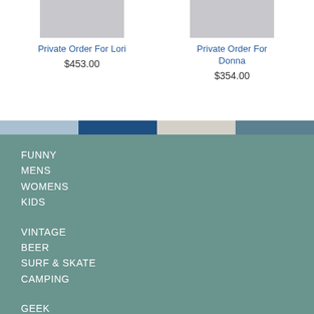[Figure (photo): Gray product image thumbnail for Private Order For Lori]
Private Order For Lori
$453.00
[Figure (photo): Gray product image thumbnail for Private Order For Donna]
Private Order For Donna
$354.00
FUNNY
MENS
WOMENS
KIDS
VINTAGE
BEER
SURF & SKATE
CAMPING
GEEK
SCIENCE